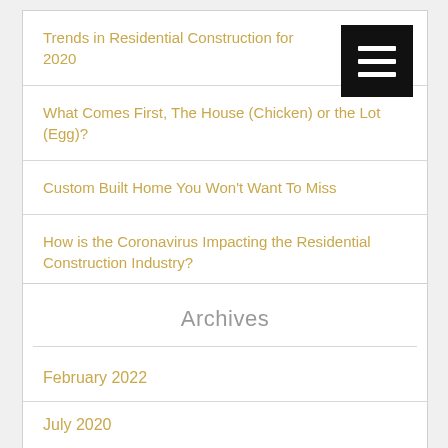Trends in Residential Construction for 2020
What Comes First, The House (Chicken) or the Lot (Egg)?
Custom Built Home You Won't Want To Miss
How is the Coronavirus Impacting the Residential Construction Industry?
Archives
February 2022
July 2020
May 2020